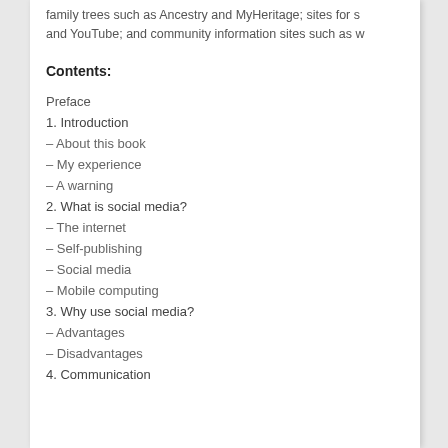family trees such as Ancestry and MyHeritage; sites for s and YouTube; and community information sites such as w
Contents:
Preface
1. Introduction
– About this book
– My experience
– A warning
2. What is social media?
– The internet
– Self-publishing
– Social media
– Mobile computing
3. Why use social media?
– Advantages
– Disadvantages
4. Communication